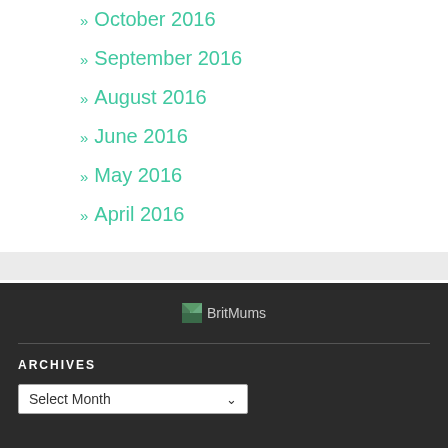» October 2016
» September 2016
» August 2016
» June 2016
» May 2016
» April 2016
[Figure (logo): BritMums logo with small image icon and text]
ARCHIVES
Select Month